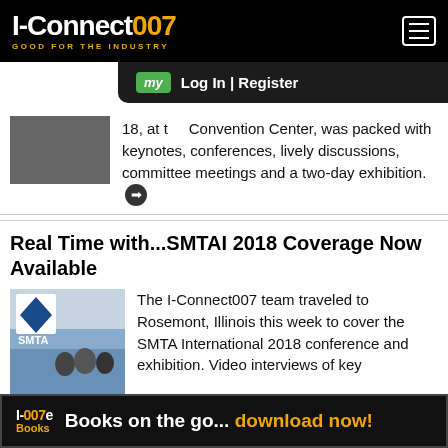I-Connect007 — GOOD FOR THE INDUSTRY
Log In | Register
18, at the Convention Center, was packed with keynotes, conferences, lively discussions, committee meetings and a two-day exhibition.
[Figure (photo): Partial event photo cropped at top]
Real Time with...SMTAI 2018 Coverage Now Available
[Figure (photo): Photo of SMTA booth with people at SMTA International 2018]
The I-Connect007 team traveled to Rosemont, Illinois this week to cover the SMTA International 2018 conference and exhibition. Video interviews of key
I-007e Books — Books on the go... download now!